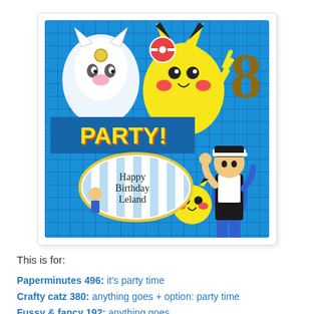[Figure (photo): A Pokemon-themed birthday card with a blue criss-cross grid background. Features Pikachu and Meowth at the top with a 'PARTY!' banner below them. A gold number '8' is in the top right. In the lower portion, Ash Ketchum runs with a smaller Pikachu at his feet. A white oval badge reads 'Happy Birthday Leland' with a small Pokemon trainer illustration.]
This is for:
Paperminutes 496:  it's party time
Crafty catz 380: anything goes + option: party time
Fussy & fancy 192: anything goes
Polka doodles week 29: anything goes